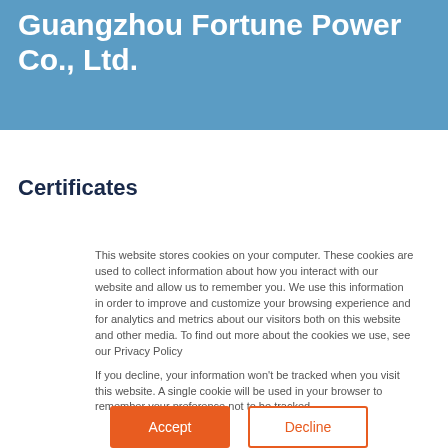Guangzhou Fortune Power Co., Ltd.
Certificates
This website stores cookies on your computer. These cookies are used to collect information about how you interact with our website and allow us to remember you. We use this information in order to improve and customize your browsing experience and for analytics and metrics about our visitors both on this website and other media. To find out more about the cookies we use, see our Privacy Policy

If you decline, your information won't be tracked when you visit this website. A single cookie will be used in your browser to remember your preference not to be tracked.
Accept
Decline